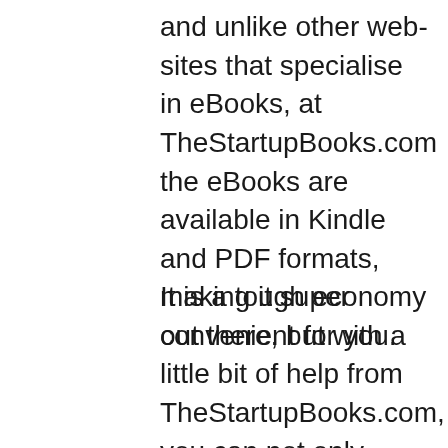and unlike other web- sites that specialise in eBooks, at TheStartupBooks.com the eBooks are available in Kindle and PDF formats, making it super convenient for you.
It is a tough economy out there, but with a little bit of help from TheStartupBooks.com, you can not only make the whole thing a breeze but also perhaps make much more